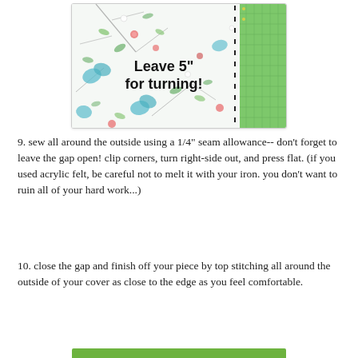[Figure (photo): Photo of floral fabric with text overlay 'Leave 5" for turning!' and a dashed vertical line indicating a gap. A green cutting mat is visible on the right side.]
9. sew all around the outside using a 1/4" seam allowance-- don't forget to leave the gap open!  clip corners, turn right-side out, and press flat.  (if you used acrylic felt, be careful not to melt it with your iron.  you don't want to ruin all of your hard work...)
10. close the gap and finish off your piece by top stitching all around the outside of your cover as close to the edge as you feel comfortable.